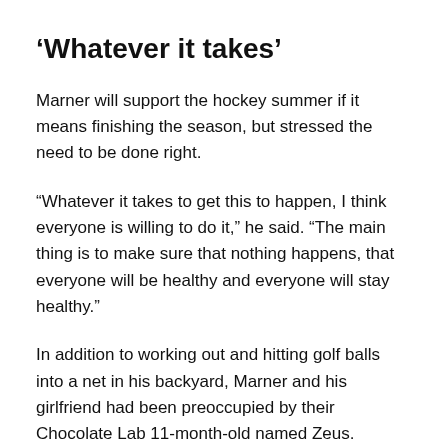‘Whatever it takes’
Marner will support the hockey summer if it means finishing the season, but stressed the need to be done right.
“Whatever it takes to get this to happen, I think everyone is willing to do it,” he said. “The main thing is to make sure that nothing happens, that everyone will be healthy and everyone will stay healthy.”
In addition to working out and hitting golf balls into a net in his backyard, Marner and his girlfriend had been preoccupied by their Chocolate Lab 11-month-old named Zeus.